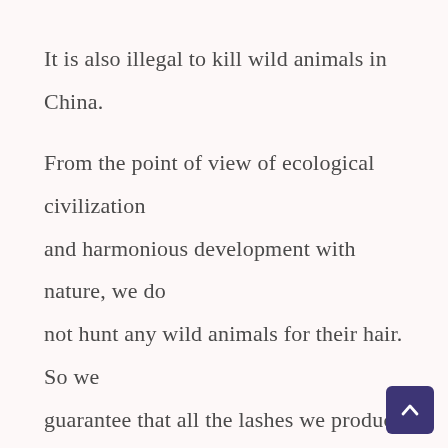It is also illegal to kill wild animals in China.

From the point of view of ecological civilization and harmonious development with nature, we do not hunt any wild animals for their hair. So we guarantee that all the lashes we produce and sell are cruelty-free.

The most perfect quality assurance system: we have strict quality control in every production